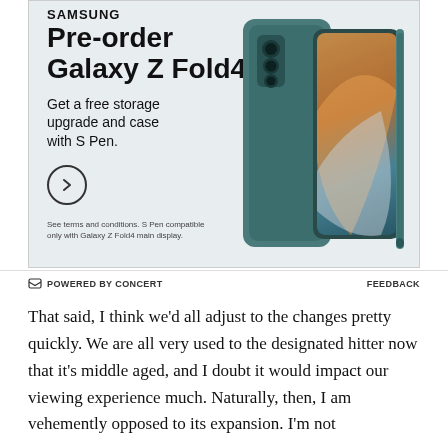[Figure (infographic): Samsung advertisement for Galaxy Z Fold4 pre-order. Teal/grey background with phone product image on right side. Text on left: Pre-order Galaxy Z Fold4. Get a free storage upgrade and case with S Pen. Arrow button and fine print disclaimer.]
POWERED BY CONCERT   FEEDBACK
That said, I think we'd all adjust to the changes pretty quickly. We are all very used to the designated hitter now that it's middle aged, and I doubt it would impact our viewing experience much. Naturally, then, I am vehemently opposed to its expansion. I'm not